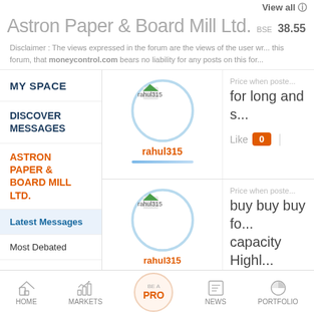View all
Astron Paper & Board Mill Ltd.  BSE 38.55
Disclaimer : The views expressed in the forum are the views of the user writing the post, and not that of moneycontrol.com. moneycontrol.com bears no liability for any posts on this forum.
MY SPACE
DISCOVER MESSAGES
ASTRON PAPER & BOARD MILL LTD.
Latest Messages
Most Debated
[Figure (illustration): User avatar circle for rahul315 with icon and username label in orange]
Price when posted
for long and s
Like  0
[Figure (illustration): User avatar circle for rahul315 with icon and username label]
Price when posted
buy buy buy for capacity Highly
HOME  MARKETS  BE A PRO  NEWS  PORTFOLIO